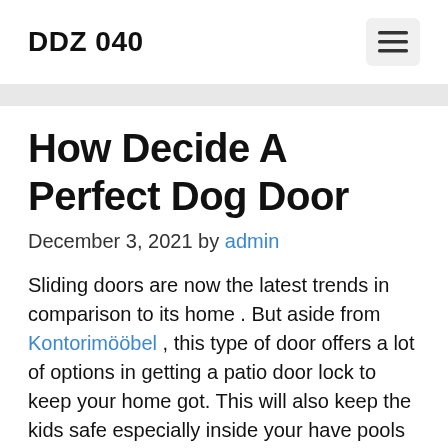DDZ 040
How Decide A Perfect Dog Door
December 3, 2021 by admin
Sliding doors are now the latest trends in comparison to its home . But aside from Kontorimööbel , this type of door offers a lot of options in getting a patio door lock to keep your home got. This will also keep the kids safe especially inside your have pools at